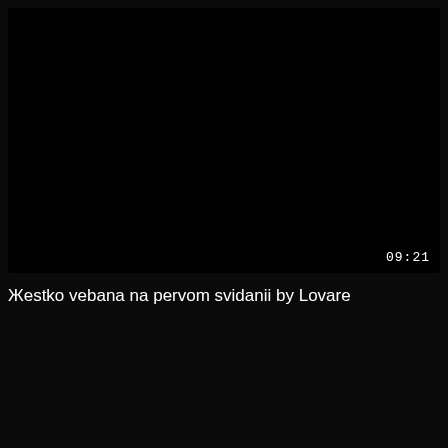[Figure (screenshot): Black video thumbnail with timestamp 09:21 in the bottom right corner]
Жestko vebana na pervom svidanii by Lovare
[Figure (screenshot): Black lower section area]